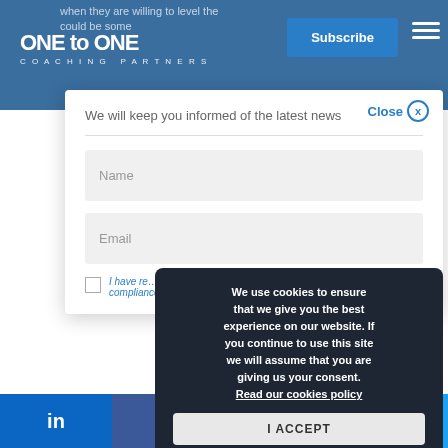ONE to ONE - Coaching Partners
when they are willing to level the... could be some...
We will keep you informed of the latest news
Name
Email
I have read... PR... compliance...
We use cookies to ensure that we give you the best experience on our website. If you continue to use this site we will assume that you are giving us your consent. Read our cookies policy
I ACCEPT
LinkedIn Facebook Twitter Email